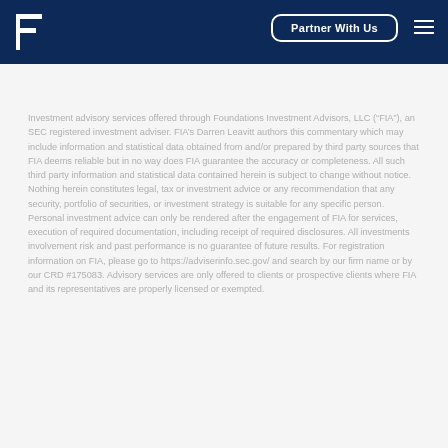Partner With Us
Investment advisory services offered through Foundations Investment Advisors, LLC (“FIA”), an SEC registered investment adviser. FIA’s Darren Leavitt authors this commentary which may include information and statistical data obtained from and/or prepared by third party sources that FIA deems reliable but in no way does FIA guarantee the accuracy or completeness. All such third party information and statistical data contained herein is subject to change without notice. Nothing herein constitutes legal, tax or investment advice or any recommendation that any security, portfolio of securities, or investment strategy is suitable for any specific person. Personal investment advice can only be rendered after the engagement of FIA for services, execution of required documentation, including receipt of required disclosures. All investments involvement risk and past performance is no guarantee of future results. For registration information on FIA, please go to https://adviserinfo.sec.gov/ and search by our firm name or by our CRD #175083. Advisory services are only offered to clients or prospective clients where FIA and its representatives are properly licensed or exempted.